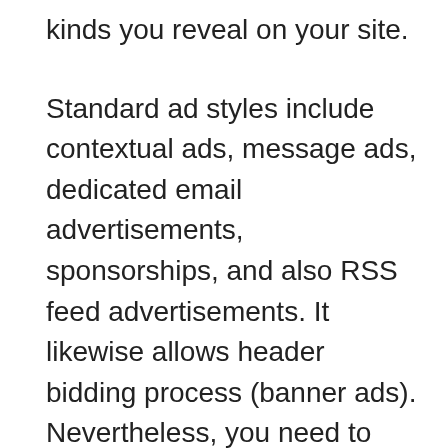kinds you reveal on your site.

Standard ad styles include contextual ads, message ads, dedicated email advertisements, sponsorships, and also RSS feed advertisements. It likewise allows header bidding process (banner ads). Nevertheless, you need to contend the very least 100,000 monthly web page views to be able to make use of BuySellAds.